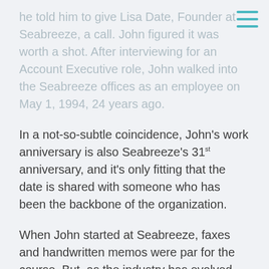he told him to give Lisa Date, Founder at Seabreeze, a call. John figured it was worth a shot. After interviewing for an Account Executive role, John walked into the Seabreeze offices as an employee on May 1, 1994, 24 years ago.
In a not-so-subtle coincidence, John's work anniversary is also Seabreeze's 31st anniversary, and it's only fitting that the date is shared with someone who has been the backbone of the organization.
When John started at Seabreeze, faxes and handwritten memos were par for the course. But, as the industry has evolved and grown, he's grown with it. “Everything has changed,” he notes. “With phones and devices, everything is about instant gratification and we are communicating all the time. People want immediate responses and their